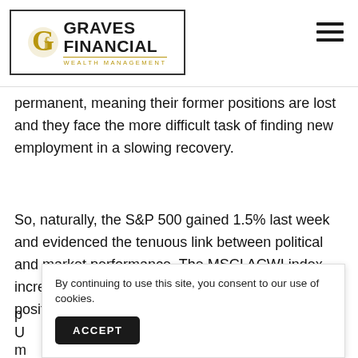Graves Financial Wealth Management
permanent, meaning their former positions are lost and they face the more difficult task of finding new employment in a slowing recovery.
So, naturally, the S&P 500 gained 1.5% last week and evidenced the tenuous link between political and market performance. The MSCI ACWI index increased 1.7% as global stocks swung back to positive
By continuing to use this site, you consent to our use of cookies.
ACCEPT